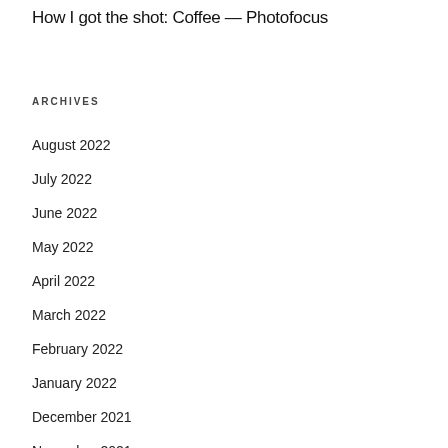How I got the shot: Coffee — Photofocus
ARCHIVES
August 2022
July 2022
June 2022
May 2022
April 2022
March 2022
February 2022
January 2022
December 2021
November 2021